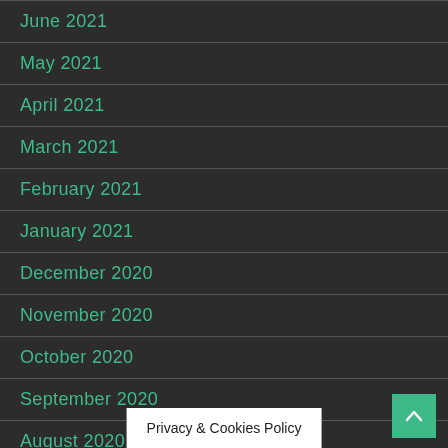June 2021
May 2021
April 2021
March 2021
February 2021
January 2021
December 2020
November 2020
October 2020
September 2020
August 2020
July 2020
June 2020
Privacy & Cookies Policy